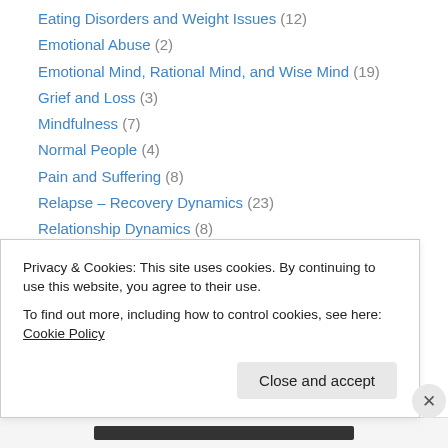Eating Disorders and Weight Issues (12)
Emotional Abuse (2)
Emotional Mind, Rational Mind, and Wise Mind (19)
Grief and Loss (3)
Mindfulness (7)
Normal People (4)
Pain and Suffering (8)
Relapse – Recovery Dynamics (23)
Relationship Dynamics (8)
Self-Destructive Behavior (12)
Self-Injurious Behavior – Cutting (4)
Substance Abuse (8)
Suicide and Suicidal Behavior (4)
Privacy & Cookies: This site uses cookies. By continuing to use this website, you agree to their use. To find out more, including how to control cookies, see here: Cookie Policy
Close and accept